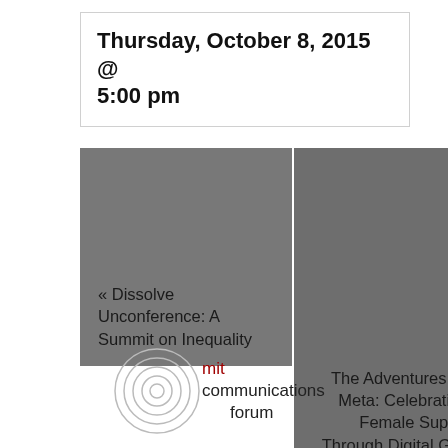Thursday, October 8, 2015 @ 5:00 pm
« Dissolve Unconference: A Summit on Inequality
The Adventures of Ms. Meta: Celebrating the Female Superhero Through Digital Gaming »
[Figure (logo): MIT Communications Forum logo with concentric circles and text 'mit communications forum']